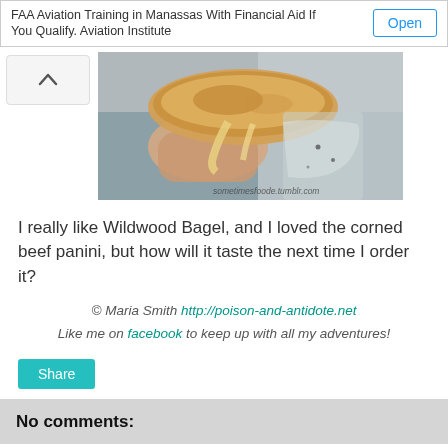FAA Aviation Training in Manassas With Financial Aid If You Qualify. Aviation Institute
[Figure (photo): Close-up photo of a hand holding a toasted bagel/panini with melted cheese and filling, with watermark 'sometimesfoode.tumblr.com']
I really like Wildwood Bagel, and I loved the corned beef panini, but how will it taste the next time I order it?
© Maria Smith http://poison-and-antidote.net Like me on facebook to keep up with all my adventures!
Share
No comments: